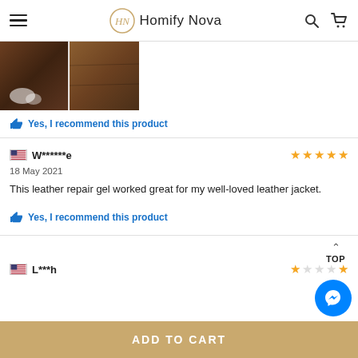Homify Nova
[Figure (photo): Two side-by-side photos of a brown leather sofa/couch showing wear and repair]
Yes, I recommend this product
W******e   18 May 2021   ★★★★★   This leather repair gel worked great for my well-loved leather jacket.   Yes, I recommend this product
L***h